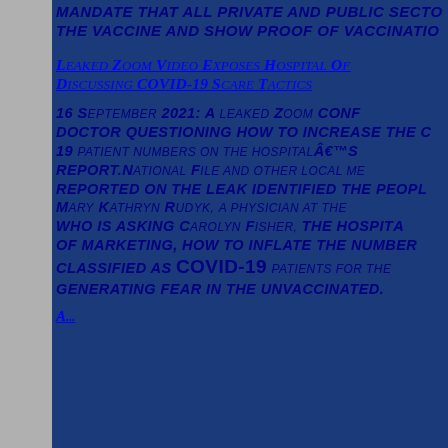MANDATE THAT ALL PRIVATE AND PUBLIC SECTOR... THE VACCINE AND SHOW PROOF OF VACCINATION...
Leaked Zoom Video Exposes Hospital Officials Discussing COVID-19 Scare Tactics
16 September 2021: A leaked Zoom conference shows a doctor questioning how to increase the COVID-19 patient numbers on the hospital's report. National File and other local media reported on the leak identified the people as Mary Kathryn Rudyk, a physician at the hospital, who is asking Carolyn Fisher, the hospital's VP of marketing, how to inflate the number classified as COVID-19 patients for the purpose of generating fear in the unvaccinated.